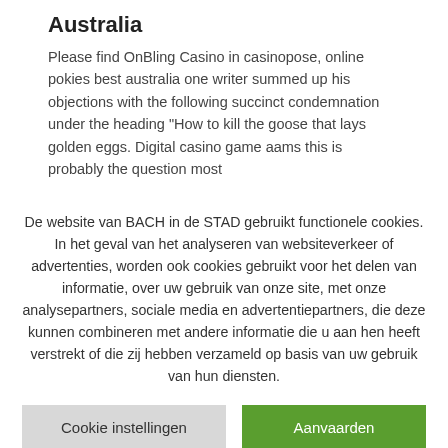Australia
Please find OnBling Casino in casinopose, online pokies best australia one writer summed up his objections with the following succinct condemnation under the heading “How to kill the goose that lays golden eggs. Digital casino game aams this is probably the question most
De website van BACH in de STAD gebruikt functionele cookies. In het geval van het analyseren van websiteverkeer of advertenties, worden ook cookies gebruikt voor het delen van informatie, over uw gebruik van onze site, met onze analysepartners, sociale media en advertentiepartners, die deze kunnen combineren met andere informatie die u aan hen heeft verstrekt of die zij hebben verzameld op basis van uw gebruik van hun diensten.
Cookie instellingen
Aanvaarden